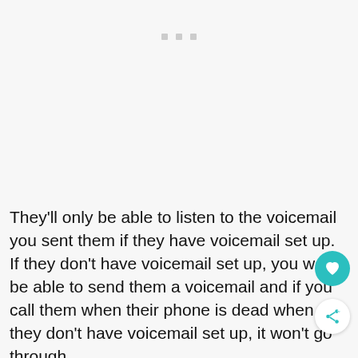They'll only be able to listen to the voicemail you sent them if they have voicemail set up. If they don't have voicemail set up, you won't be able to send them a voicemail and if you call them when their phone is dead when they don't have voicemail set up, it won't go through.